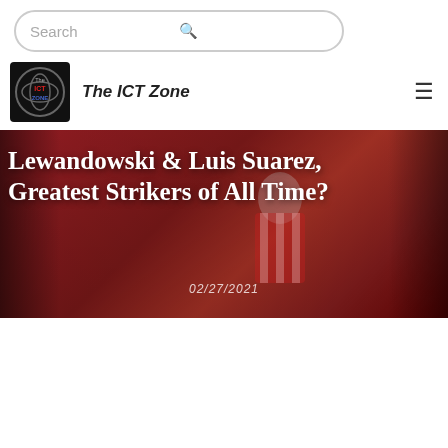Search
The ICT Zone
Lewandowski & Luis Suarez, Greatest Strikers of All Time?
02/27/2021